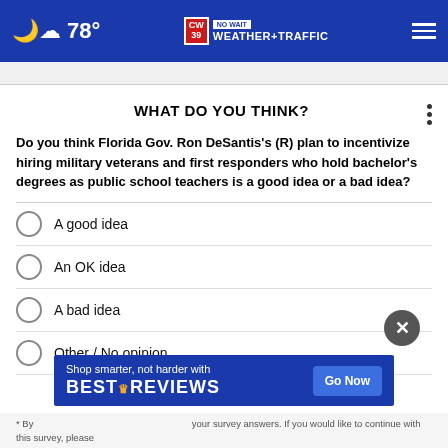78° CW39 NO WAIT WEATHER+TRAFFIC
WHAT DO YOU THINK?
Do you think Florida Gov. Ron DeSantis's (R) plan to incentivize hiring military veterans and first responders who hold bachelor's degrees as public school teachers is a good idea or a bad idea?
A good idea
An OK idea
A bad idea
Other / No opinion
[Figure (screenshot): BestReviews advertisement banner: 'Shop smarter, not harder with BESTREVIEWS — Go Now']
* By ... your survey answers. If you would like to continue with this survey, please